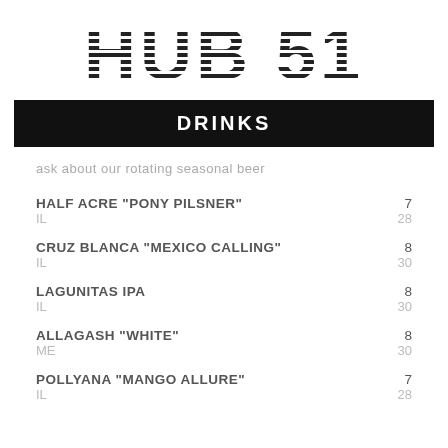HUB 51
DRINKS
ask about our rotating seasonal beer
HALF ACRE "PONY PILSNER"  IL  7  28
CRUZ BLANCA "MEXICO CALLING"  IL  8  30
LAGUNITAS IPA  IL  8  30
ALLAGASH "WHITE"  ME  8  30
POLLYANA "MANGO ALLURE"  IL  7  28